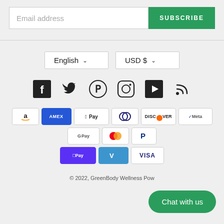Email address  SUBSCRIBE
English  USD $
[Figure (illustration): Row of social media icons: Facebook, Twitter, Pinterest, Instagram, YouTube, RSS]
[Figure (illustration): Payment method icons: Amazon, Amex, Apple Pay, Diners, Discover, Meta Pay, Google Pay, Mastercard, PayPal, Shop Pay, Venmo, Visa]
© 2022, GreenBody Wellness Pow...
Chat with us